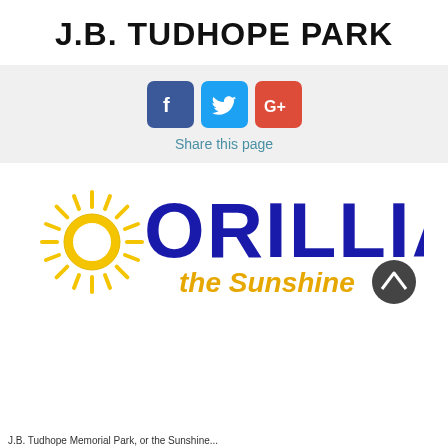J.B. TUDHOPE PARK
[Figure (infographic): Social share buttons for Facebook, Twitter, and Google+ with 'Share this page' label below]
Share this page
[Figure (logo): Orillia 'the Sunshine' city logo with stylized sun and blue text]
J.B. Tudhope Memorial Park, or the Sunshine...